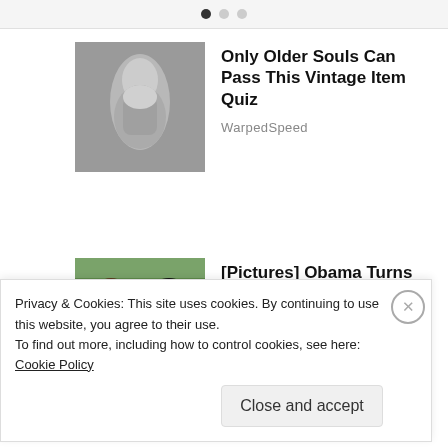[Figure (infographic): Carousel pagination dots: one filled black dot and two grey dots]
[Figure (photo): Close-up photo of a vintage grey item (appears to be a car gear shift or similar vintage object)]
Only Older Souls Can Pass This Vintage Item Quiz
WarpedSpeed
[Figure (photo): Photo of Barack Obama and a woman wearing sunglasses outdoors with greenery in background]
[Pictures] Obama Turns 60 And This Is The House He Lives In
BuzzAura
Privacy & Cookies: This site uses cookies. By continuing to use this website, you agree to their use.
To find out more, including how to control cookies, see here: Cookie Policy
Close and accept